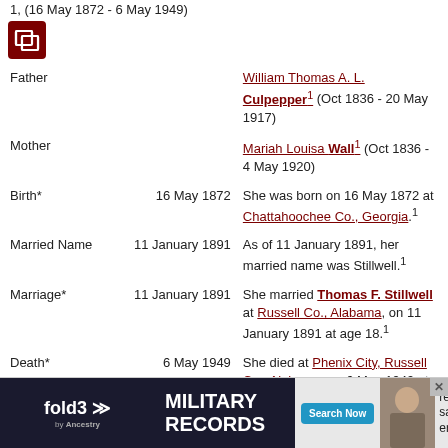1, (16 May 1872 - 6 May 1949)
[Figure (other): Dark red icon with overlapping squares/layers symbol]
| Field | Date | Description |
| --- | --- | --- |
| Father |  | William Thomas A. L. Culpepper¹ (Oct 1836 - 20 May 1917) |
| Mother |  | Mariah Louisa Wall¹ (Oct 1836 - 4 May 1920) |
| Birth* | 16 May 1872 | She was born on 16 May 1872 at Chattahoochee Co., Georgia.¹ |
| Married Name | 11 January 1891 | As of 11 January 1891, her married name was Stillwell.¹ |
| Marriage* | 11 January 1891 | She married Thomas F. Stillwell at Russell Co., Alabama, on 11 January 1891 at age 18.¹ |
| Death* | 6 May 1949 | She died at Phenix City, Russell Co., Alabama, on 6 May 1949 at age 76.¹ |
| Burial* |  | ...red say ...erdale |
[Figure (infographic): fold3 Military Records advertisement banner with Search Now button and soldier photo]